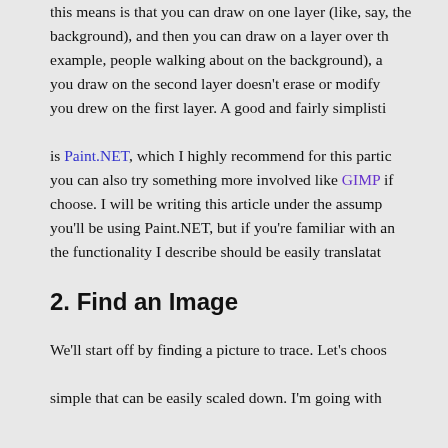this means is that you can draw on one layer (like, say, the background), and then you can draw on a layer over that (for example, people walking about on the background), and what you draw on the second layer doesn't erase or modify what you drew on the first layer. A good and fairly simplistic program is Paint.NET, which I highly recommend for this particular use; you can also try something more involved like GIMP if you choose. I will be writing this article under the assumption you'll be using Paint.NET, but if you're familiar with another, the functionality I describe should be easily translatable.
2. Find an Image
We'll start off by finding a picture to trace. Let's choose something simple that can be easily scaled down. I'm going with